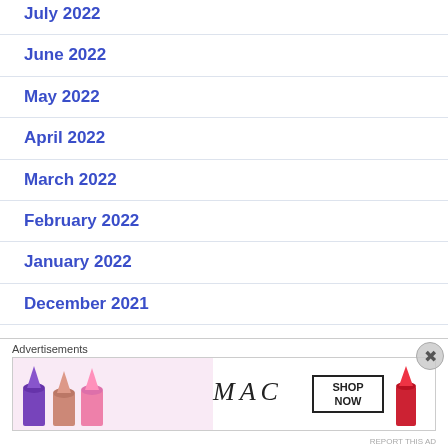July 2022
June 2022
May 2022
April 2022
March 2022
February 2022
January 2022
December 2021
November 2021
October 2021
[Figure (illustration): MAC cosmetics advertisement banner with lipstick products, MAC logo, and SHOP NOW button]